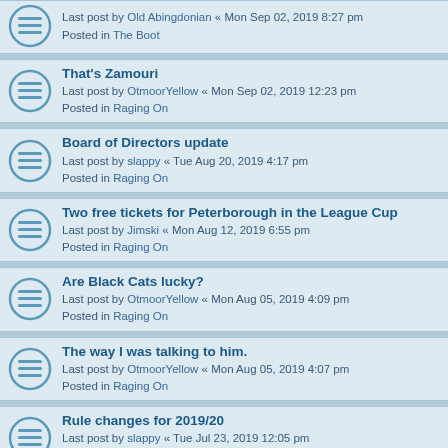Last post by Old Abingdonian « Mon Sep 02, 2019 8:27 pm
Posted in The Boot
That's Zamouri
Last post by OtmoorYellow « Mon Sep 02, 2019 12:23 pm
Posted in Raging On
Board of Directors update
Last post by slappy « Tue Aug 20, 2019 4:17 pm
Posted in Raging On
Two free tickets for Peterborough in the League Cup
Last post by Jimski « Mon Aug 12, 2019 6:55 pm
Posted in Raging On
Are Black Cats lucky?
Last post by OtmoorYellow « Mon Aug 05, 2019 4:09 pm
Posted in Raging On
The way I was talking to him.
Last post by OtmoorYellow « Mon Aug 05, 2019 4:07 pm
Posted in Raging On
Rule changes for 2019/20
Last post by slappy « Tue Jul 23, 2019 12:05 pm
Posted in Raging On
St James Park
Last post by OtmoorYellow « Sat Jul 13, 2019 12:40 am
Posted in Raging On
Meadow View Park
Last post by OtmoorYellow « Thu Jul 11, 2019 1:29 pm
Posted in Raging On